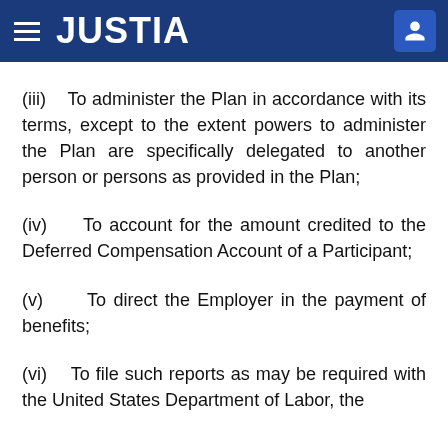JUSTIA
(iii)    To administer the Plan in accordance with its terms, except to the extent powers to administer the Plan are specifically delegated to another person or persons as provided in the Plan;
(iv)    To account for the amount credited to the Deferred Compensation Account of a Participant;
(v)    To direct the Employer in the payment of benefits;
(vi)    To file such reports as may be required with the United States Department of Labor, the